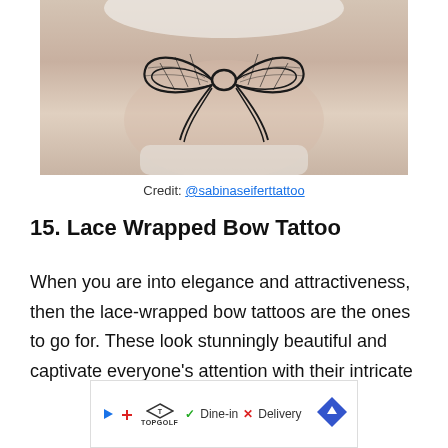[Figure (photo): Close-up photo of a lace bow tattoo on a person's arm/knee area, showing intricate black lace and bow design on skin]
Credit: @sabinaseiferttattoo
15. Lace Wrapped Bow Tattoo
When you are into elegance and attractiveness, then the lace-wrapped bow tattoos are the ones to go for. These look stunningly beautiful and captivate everyone's attention with their intricate
[Figure (other): Advertisement banner for TopGolf showing Dine-in and Delivery options with navigation icon]